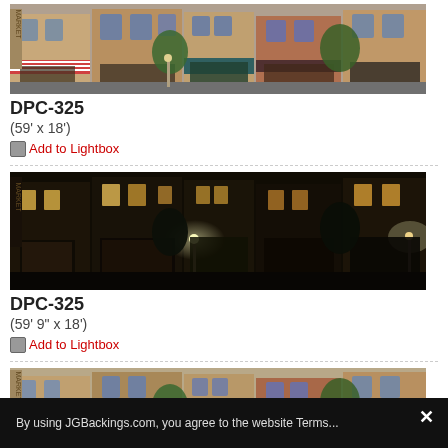[Figure (photo): Daytime street-level photo of NYC-style urban storefronts, brick buildings, awnings, trees, sidewalk. Product DPC-325.]
DPC-325
(59' x 18')
Add to Lightbox
[Figure (photo): Nighttime street-level photo of same NYC-style urban storefronts, illuminated street lamps, dark sky. Product DPC-325.]
DPC-325
(59' 9" x 18')
Add to Lightbox
[Figure (photo): Partial daytime street-level photo of NYC-style urban storefronts, brick buildings, awnings, trees. Product DPC-325 (third variant).]
By using JGBackings.com, you agree to the website Terms...